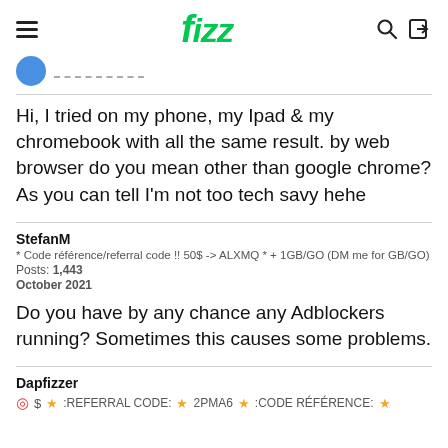fizz
Hi, I tried on my phone, my Ipad & my chromebook with all the same result. by web browser do you mean other than google chrome? As you can tell I'm not too tech savy hehe
StefanM
* Code référence/referral code !! 50$ -> ALXMQ * + 1GB/GO (DM me for GB/GO)
Posts: 1,443
October 2021
Do you have by any chance any Adblockers running? Sometimes this causes some problems.
Dapfizzer
⊙ $ ★ :REFERRAL CODE: ★ 2PMA6 ★ :CODE RÉFÉRENCE: ★